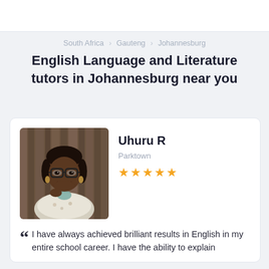South Africa > Gauteng > Johannesburg
English Language and Literature tutors in Johannesburg near you
[Figure (photo): Profile photo of tutor Uhuru R, a smiling woman wearing glasses, a floral jacket, and earrings, photographed against a wooden background]
Uhuru R
Parktown
★★★★★
I have always achieved brilliant results in English in my entire school career. I have the ability to explain